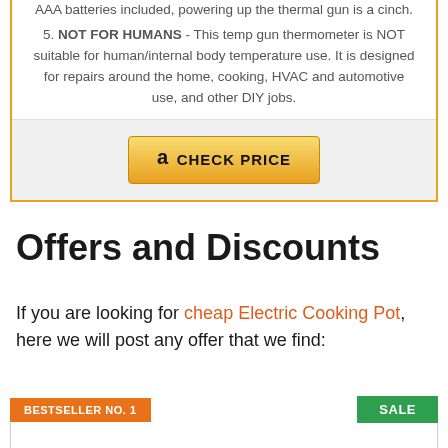5. NOT FOR HUMANS - This temp gun thermometer is NOT suitable for human/internal body temperature use. It is designed for repairs around the home, cooking, HVAC and automotive use, and other DIY jobs.
CHECK PRICE
Offers and Discounts
If you are looking for cheap Electric Cooking Pot, here we will post any offer that we find:
BESTSELLER NO. 1
SALE